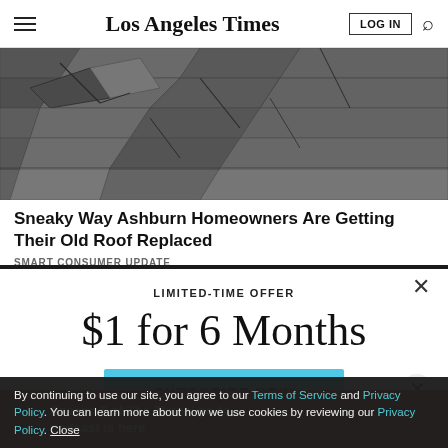Los Angeles Times
[Figure (photo): Close-up photo of damaged, broken, and cracked roofing shingles in black and white tones]
Sneaky Way Ashburn Homeowners Are Getting Their Old Roof Replaced
SMART CONSUMER UPDATE
LIMITED-TIME OFFER
$1 for 6 Months
SUBSCRIBE NOW
By continuing to use our site, you agree to our Terms of Service and Privacy Policy. You can learn more about how we use cookies by reviewing our Privacy Policy. Close
Season 5 of The Times' go-to podcast is here